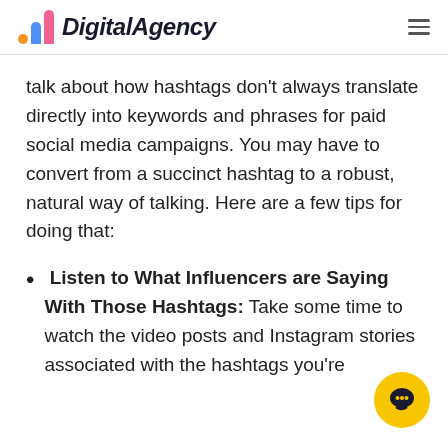DigitalAgency
talk about how hashtags don't always translate directly into keywords and phrases for paid social media campaigns. You may have to convert from a succinct hashtag to a robust, natural way of talking. Here are a few tips for doing that:
Listen to What Influencers are Saying With Those Hashtags: Take some time to watch the video posts and Instagram stories associated with the hashtags you're